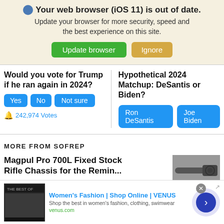🌐 Your web browser (iOS 11) is out of date. Update your browser for more security, speed and the best experience on this site.
Update browser | Ignore
Would you vote for Trump if he ran again in 2024?
Yes | No | Not sure
242,974 Votes
Hypothetical 2024 Matchup: DeSantis or Biden?
Ron DeSantis | Joe Biden
MORE FROM SOFREP
Magpul Pro 700L Fixed Stock Rifle Chassis for the Remington...
[Figure (photo): Photo of rifle/scope]
[Figure (screenshot): Ad: Women's Fashion | Shop Online | VENUS - Shop the best in women's fashion, clothing, swimwear - venus.com]